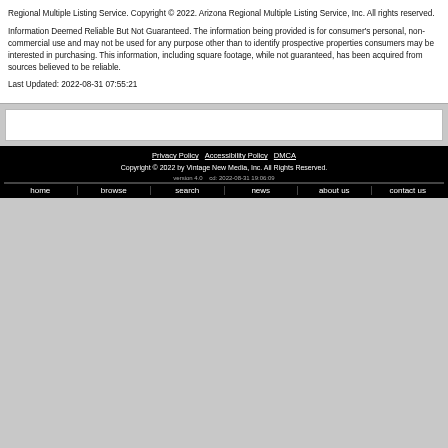Regional Multiple Listing Service. Copyright © 2022. Arizona Regional Multiple Listing Service, Inc. All rights reserved.
Information Deemed Reliable But Not Guaranteed. The information being provided is for consumer's personal, non-commercial use and may not be used for any purpose other than to identify prospective properties consumers may be interested in purchasing. This information, including square footage, while not guaranteed, has been acquired from sources believed to be reliable.
Last Updated: 2022-08-31 07:55:21
Privacy Policy  Accessibility Policy  DMCA
Copyright © 2022 by Vintage New Media, Inc. All Rights Reserved.
version 4.0  cd: 2022-08-31 19:06:09
home  browse  search  news  about us  contact us